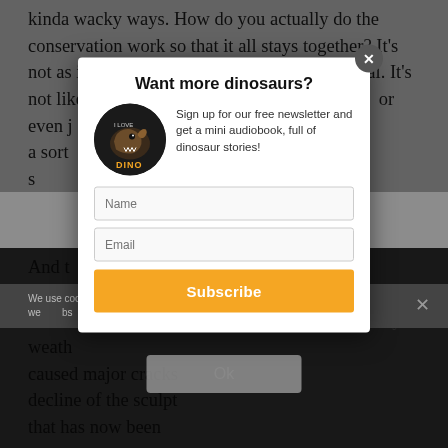kinda wacky ways. How do you actually do the conservation work so that it all stays together? It's not as if it's made of one single kind of material. It's not like conserving let's say a marble sculpture or even just amalg... they m... side with i... ar is a sort... ns that w... o little layers... ng, but so... ness. And t... they
[Figure (screenshot): Newsletter subscription modal popup with title 'Want more dinosaurs?', dinosaur book logo, description text, Name and Email input fields, and orange Subscribe button. Behind modal is greyed-out article text and a dark overlay. A cookie consent bar and OK dialog are also visible.]
Want more dinosaurs?
Sign up for our free newsletter and get a mini audiobook, full of dinosaur stories!
Name
Email
Subscribe
We use cookies to improve your experience on our website.
Ok